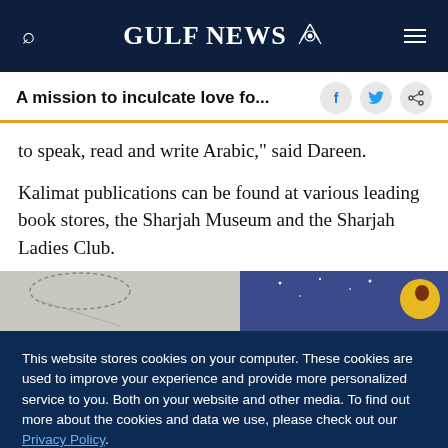GULF NEWS
A mission to inculcate love fo...
to speak, read and write Arabic," said Dareen.
Kalimat publications can be found at various leading book stores, the Sharjah Museum and the Sharjah Ladies Club.
[Figure (photo): Partial image of illustrated book covers, showing a night sky scene with moon and stars]
This website stores cookies on your computer. These cookies are used to improve your experience and provide more personalized service to you. Both on your website and other media. To find out more about the cookies and data we use, please check out our Privacy Policy.